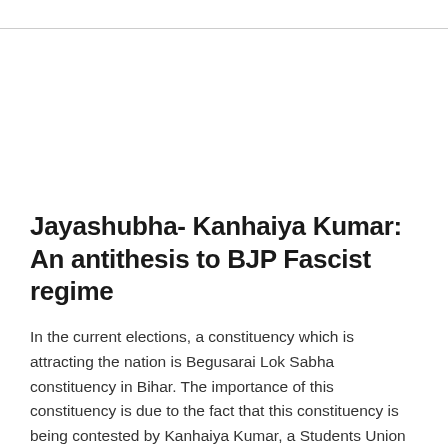Jayashubha- Kanhaiya Kumar: An antithesis to BJP Fascist regime
In the current elections, a constituency which is attracting the nation is Begusarai Lok Sabha constituency in Bihar. The importance of this constituency is due to the fact that this constituency is being contested by Kanhaiya Kumar, a Students Union leader turned Politician. He was joined by thousands in the rally during the time of his filing of nomination. People [Read More...]